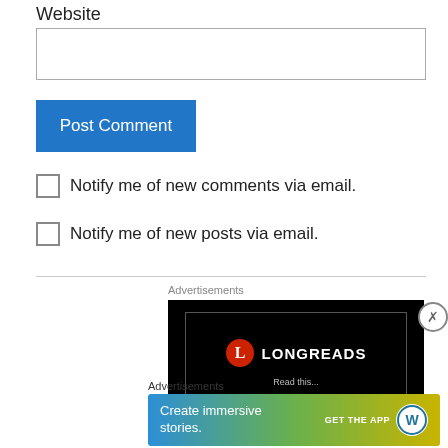Website
Post Comment
Notify me of new comments via email.
Notify me of new posts via email.
Advertisements
[Figure (logo): Longreads advertisement banner with black background showing the Longreads logo (red circle with L) and text LONGREADS, with partial text below]
Advertisements
[Figure (screenshot): WordPress advertisement banner with gradient background (blue to green to yellow) showing text 'Create immersive stories.' and 'GET THE APP' with WordPress logo]